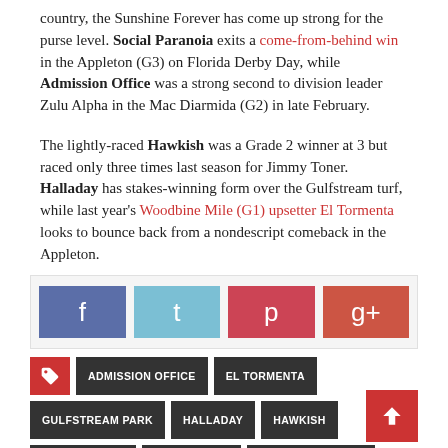country, the Sunshine Forever has come up strong for the purse level. Social Paranoia exits a come-from-behind win in the Appleton (G3) on Florida Derby Day, while Admission Office was a strong second to division leader Zulu Alpha in the Mac Diarmida (G2) in late February.
The lightly-raced Hawkish was a Grade 2 winner at 3 but raced only three times last season for Jimmy Toner. Halladay has stakes-winning form over the Gulfstream turf, while last year's Woodbine Mile (G1) upsetter El Tormenta looks to bounce back from a nondescript comeback in the Appleton.
[Figure (infographic): Social share buttons: Facebook, Twitter, Pinterest, Google+]
ADMISSION OFFICE
EL TORMENTA
GULFSTREAM PARK
HALLADAY
HAWKISH
JUST WHISTLE
MARK CASSE
SOCIAL PARANOIA